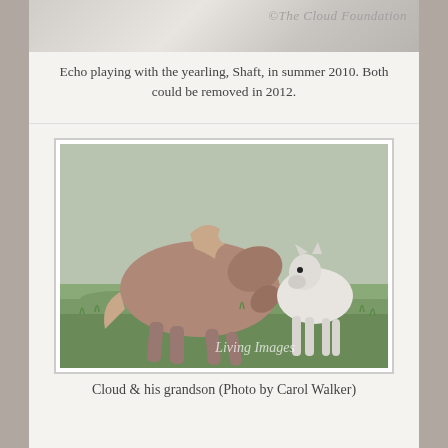[Figure (photo): Partial top view of horses in a field with blurred rocky background. Watermark reads: ©The Cloud Foundation]
Echo playing with the yearling, Shaft, in summer 2010. Both could be removed in 2012.
[Figure (photo): Cloud, a large roan horse, playing with his white grandson foal in a green grassy field. Watermark: Living Images]
Cloud & his grandson (Photo by Carol Walker)